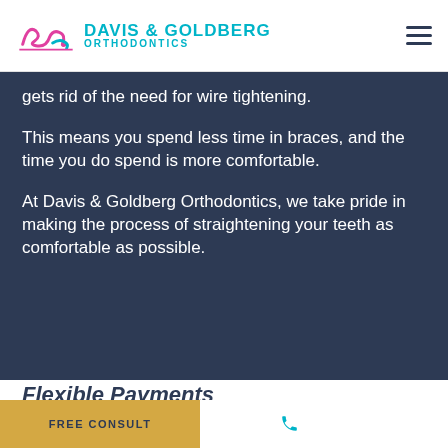Davis & Goldberg Orthodontics
gets rid of the need for wire tightening.
This means you spend less time in braces, and the time you do spend is more comfortable.
At Davis & Goldberg Orthodontics, we take pride in making the process of straightening your teeth as comfortable as possible.
Flexible Payments
[Figure (logo): Davis & Goldberg Orthodontics logo mark (partial)]
FREE CONSULT